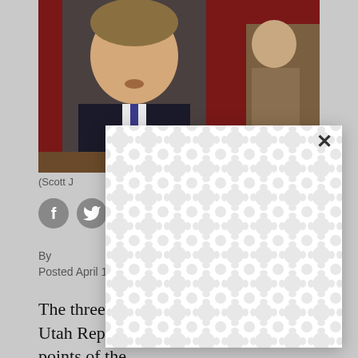[Figure (photo): Photo of a man in a suit speaking, with other people visible behind him against a red curtain backdrop in what appears to be a congressional hearing room.]
(Scott J...
[Figure (screenshot): A modal/popup overlay with a repeating interlocking circles pattern (loading/ad placeholder), with a close X button in the top right corner.]
By
Posted April 13, 2012 at 9:33am
The three top Republican challengers to Utah Rep. Jim Matheson are all within 6 points of the